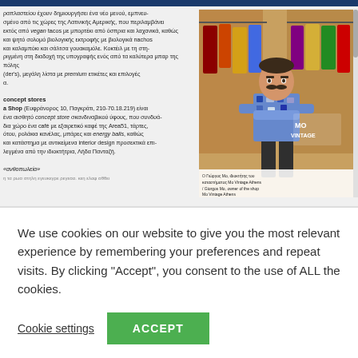ραπλαστείου έχουν δημιουργήσει ένα νέο μενού, εμπνευ-σμένο από τις χώρες της Λατινικής Αμερικής, που περιλαμβάνει εκτός από vegan tacos με μπορτέκι από όσπρια και λαχανικά, καθώς και ψητό σολομό βιολογικής εκτροφής με βιολογικά nachos και καλαμπόκι και σάλτσα γουακαμόλε. Κοκτέιλ με τη στη-ριγμένη στη διαδοχή της υπογραφής ενός από τα καλύτερα μπαρ της πόλης (Finder's), μεγάλη λίστα με premium ετικέτες και επιλογές κρασιού.
concept stores
Ma Shop (Ευφράνορος 10, Παγκράτι, 210-70.18.219) είναι ένα αισθητό concept store σκανδιναβικού ύφους, που συνδυά-ζει στον ίδιο χώρο ένα café με εξαιρετικό καφέ της Area51, τάρτες, φρέσκου, ρολάκια κανέλας, μπάρες και energy balls, καθώς και κατάστημα με αντικείμενα interior design προσεκτικά επι-λεγμένα από την ιδιοκτήτρια, Λήδα Πανταζή.
«ανθοπωλεία»
[Figure (photo): Photo of Giorgos Mo, owner of Mo Vintage Athens, standing with arms crossed in front of clothing racks in his vintage shop. He is wearing a patterned shirt and has a mustache. The shop sign 'MO VINTAGE' is visible in the background.]
Ο Γιώργος Μο, ιδιοκτήτης του καταστήματος Mo Vintage Athens / Giorgos Mo, owner of the shop Mo Vintage Athens
We use cookies on our website to give you the most relevant experience by remembering your preferences and repeat visits. By clicking "Accept", you consent to the use of ALL the cookies.
Cookie settings
ACCEPT